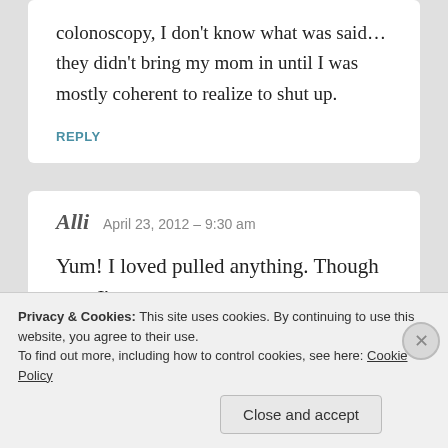colonoscopy, I don't know what was said…they didn't bring my mom in until I was mostly coherent to realize to shut up.
REPLY
Alli  April 23, 2012 – 9:30 am
Yum! I loved pulled anything. Though now I'm
Privacy & Cookies: This site uses cookies. By continuing to use this website, you agree to their use.
To find out more, including how to control cookies, see here: Cookie Policy
Close and accept